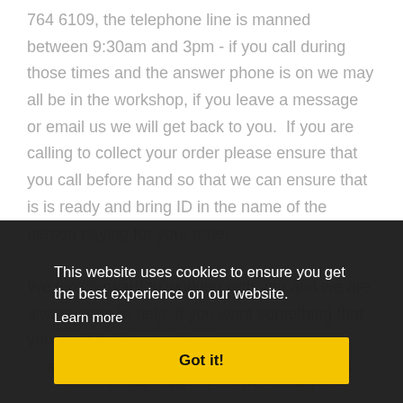764 6109, the telephone line is manned between 9:30am and 3pm - if you call during those times and the answer phone is on we may all be in the workshop, if you leave a message or email us we will get back to you.  If you are calling to collect your order please ensure that you call before hand so that we can ensure that is is ready and bring ID in the name of the person paying for your order.
We look forward to working with you and we are always here to help, if you want something that you can't find, contact us we...
This website uses cookies to ensure you get the best experience on our website.
Learn more
Got it!
Registered office: T & G Trading Ltd as The Soap House, Unit 4, Bolholt Industrial Estate, Bury, BLR 1PL. Company No...